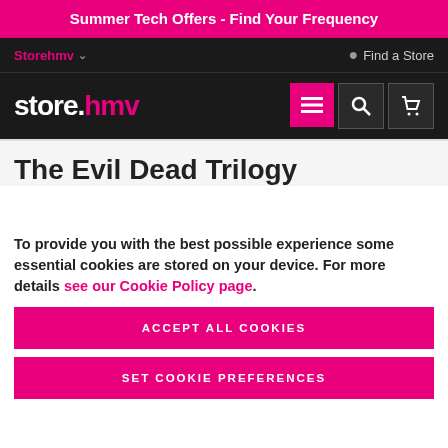Summer Tech Offers - Find Your Frequency
Storehmv  Find a Store
store.hmv
The Evil Dead Trilogy
To provide you with the best possible experience some essential cookies are stored on your device. For more details see our Cookie Policy page.
ACCEPT ALL COOKIES
SET COOKIE PREFERENCES